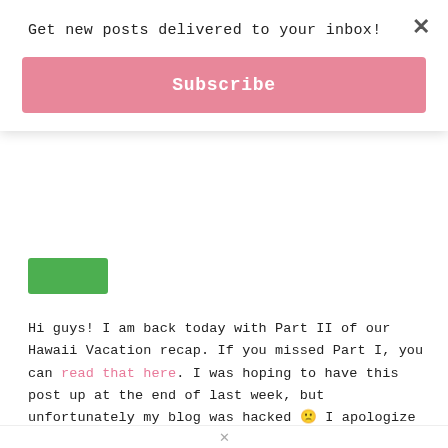Get new posts delivered to your inbox!
Subscribe
Hi guys! I am back today with Part II of our Hawaii Vacation recap. If you missed Part I, you can read that here. I was hoping to have this post up at the end of last week, but unfortunately my blog was hacked 🙁 I apologize if you were trying to access this site last Thursday or Friday – it was down for maintenance in order to fix the mess caused by a not-so-nice web hacker. Nevertheless, we are back up and running now, so let's get to it!
×